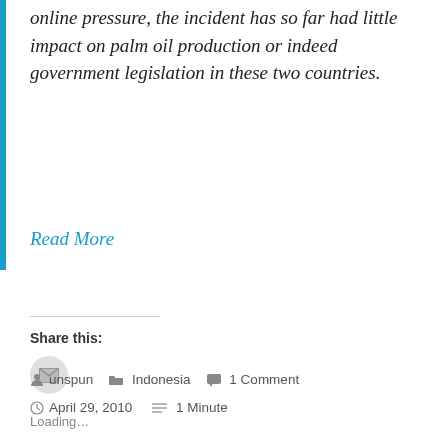online pressure, the incident has so far had little impact on palm oil production or indeed government legislation in these two countries.
Read More
Share this:
[Figure (other): Email share button icon — envelope icon inside a circular grey button]
Loading...
unspun   Indonesia   1 Comment   April 29, 2010   1 Minute